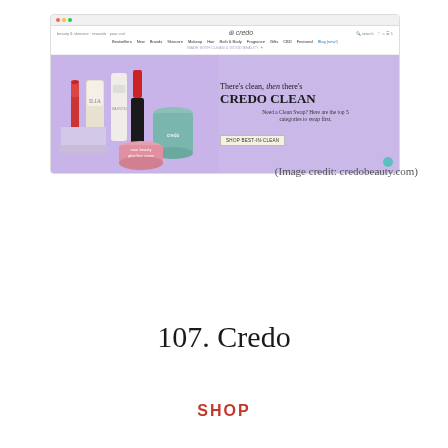[Figure (screenshot): Screenshot of the Credo Beauty website (credobeauty.com) showing the homepage with a hero banner on a lavender background, featuring beauty products including lipstick, mascara, skincare bottles, and text reading 'There's clean, then there's CREDO CLEAN. Need a Clean Swap? Here are the top 5 categories to swap first.' with a 'SHOP BEST-IN-CLEAN' button.]
(Image credit: credobeauty.com)
107. Credo
SHOP